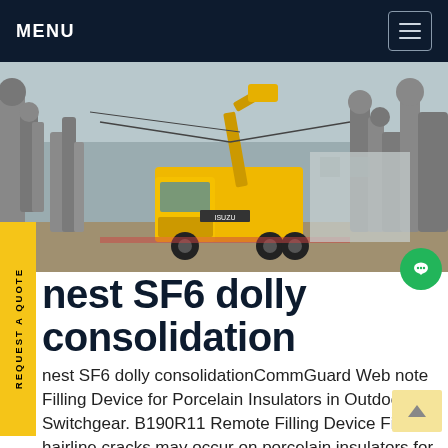MENU
[Figure (photo): Yellow ISUZU service truck with crane boom at an outdoor electrical switchgear substation with large industrial pipes and equipment]
REQUEST A QUOTE
nest SF6 dolly consolidation
nest SF6 dolly consolidationCommGuard Web note Filling Device for Porcelain Insulators in Outdoor Switchgear. B190R11 Remote Filling Device Finest hairline cracks may occur on porcelain insulators for circuit breakers or other SF 6 insulated electrical equipment such as measuring or current